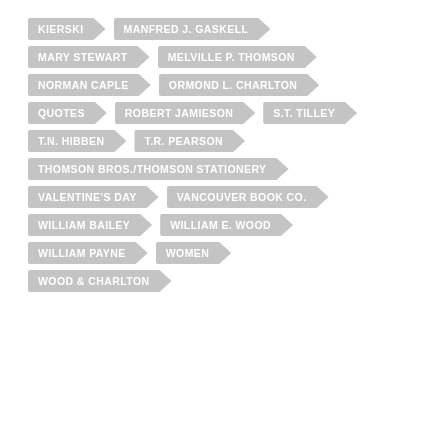KIERSKI
MANFRED J. GASKELL
MARY STEWART
MELVILLE P. THOMSON
NORMAN CAPLE
ORMOND L. CHARLTON
QUOTES
ROBERT JAMIESON
S.T. TILLEY
T.N. HIBBEN
T.R. PEARSON
THOMSON BROS./THOMSON STATIONERY
VALENTINE'S DAY
VANCOUVER BOOK CO.
WILLIAM BAILEY
WILLIAM E. WOOD
WILLIAM PAYNE
WOMEN
WOOD & CHARLTON